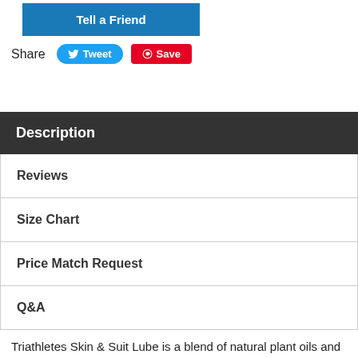[Figure (other): Blue 'Tell a Friend' button]
Share
[Figure (other): Tweet button (Twitter share) and Save button (Pinterest save)]
Description
Reviews
Size Chart
Price Match Request
Q&A
Triathletes Skin & Suit Lube is a blend of natural plant oils and waxes to help prevent rubbing in wetsuits, sores from saddle